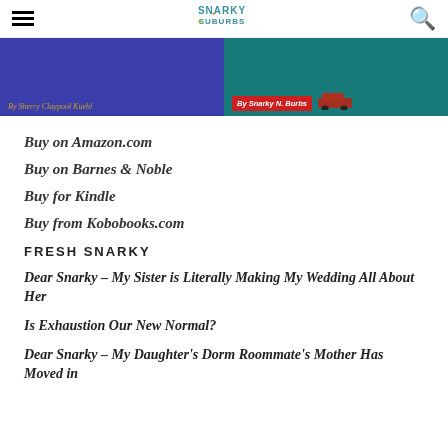Snarky in the Suburbs
[Figure (illustration): Book banner showing two book covers side by side. Left: purple/blue background with 'By Sherry Claypool Kuehl' in gold italic text. Right: teal background with red badge 'By Snarky N. Burbs' and a red minivan image.]
Buy on Amazon.com
Buy on Barnes & Noble
Buy for Kindle
Buy from Kobobooks.com
FRESH SNARKY
Dear Snarky – My Sister is Literally Making My Wedding All About Her
Is Exhaustion Our New Normal?
Dear Snarky – My Daughter's Dorm Roommate's Mother Has Moved in